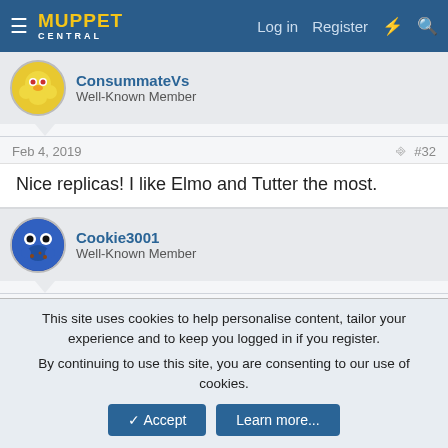Muppet Central — Log in | Register
ConsummateVs
Well-Known Member
Feb 4, 2019  #32
Nice replicas! I like Elmo and Tutter the most.
Cookie3001
Well-Known Member
Feb 4, 2019  #33
This site uses cookies to help personalise content, tailor your experience and to keep you logged in if you register.
By continuing to use this site, you are consenting to our use of cookies.